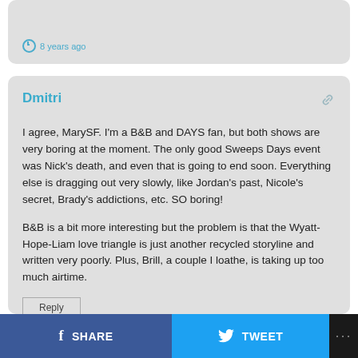8 years ago
Dmitri
I agree, MarySF. I'm a B&B and DAYS fan, but both shows are very boring at the moment. The only good Sweeps Days event was Nick's death, and even that is going to end soon. Everything else is dragging out very slowly, like Jordan's past, Nicole's secret, Brady's addictions, etc. SO boring!

B&B is a bit more interesting but the problem is that the Wyatt-Hope-Liam love triangle is just another recycled storyline and written very poorly. Plus, Brill, a couple I loathe, is taking up too much airtime.
Reply
8 years ago